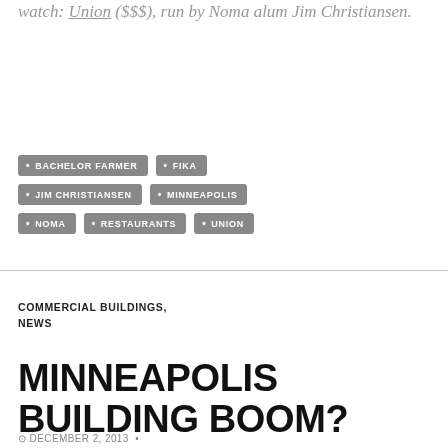watch: Union ($$$), run by Noma alum Jim Christiansen.
BACHELOR FARMER
FIKA
JIM CHRISTIANSEN
MINNEAPOLIS
NOMA
RESTAURANTS
UNION
COMMERCIAL BUILDINGS, NEWS
MINNEAPOLIS BUILDING BOOM?
DECEMBER 2, 2013